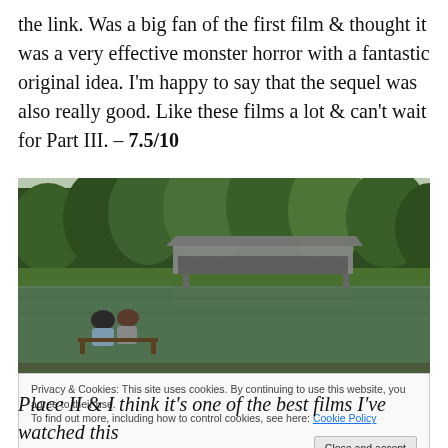the link. Was a big fan of the first film & thought it was a very effective monster horror with a fantastic original idea. I'm happy to say that the sequel was also really good. Like these films a lot & can't wait for Part III. – 7.5/10
[Figure (photo): Two people sitting on a bench by a pond, looking at a covered bridge surrounded by green trees and their reflection in calm water.]
Privacy & Cookies: This site uses cookies. By continuing to use this website, you agree to their use.
To find out more, including how to control cookies, see here: Cookie Policy
Close and accept
Place II & I think it's one of the best films I've watched this